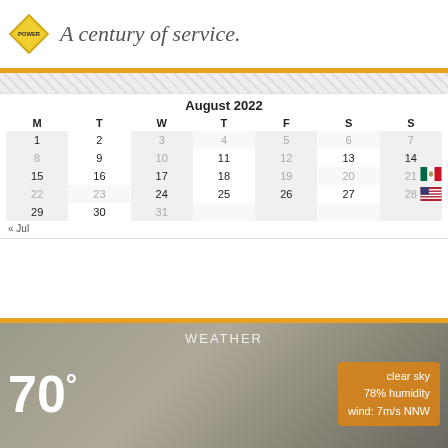[Figure (logo): Diamond-shaped logo with 'POWER' text and orange/yellow colors]
A century of service.
| M | T | W | T | F | S | S |
| --- | --- | --- | --- | --- | --- | --- |
| 1 | 2 | 3 | 4 | 5 | 6 | 7 |
| 8 | 9 | 10 | 11 | 12 | 13 | 14 |
| 15 | 16 | 17 | 18 | 19 | 20 | 21 |
| 22 | 23 | 24 | 25 | 26 | 27 | 28 |
| 29 | 30 | 31 |  |  |  |  |
« Jul
WEATHER
70°
clear sky
78% humidity
wind: 7m/s NNW